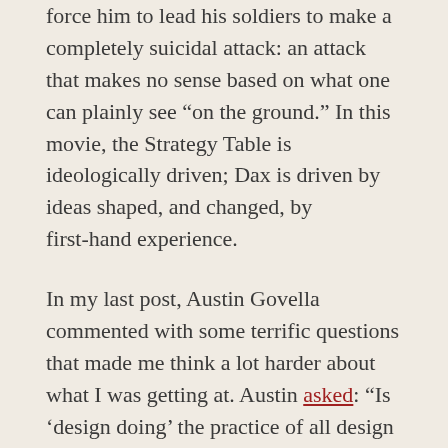force him to lead his soldiers to make a completely suicidal attack: an attack that makes no sense based on what one can plainly see “on the ground.” In this movie, the Strategy Table is ideologically driven; Dax is driven by ideas shaped, and changed, by first-hand experience.
In my last post, Austin Govella commented with some terrific questions that made me think a lot harder about what I was getting at. Austin asked: “Is ‘design doing’ the practice of all design practitioners? Can you be a design practitioner whose practice consists of ideology and abstractions?” And it made me realize I hadn’t fully thought through the distinction. But it’s a powerful distinction to make.